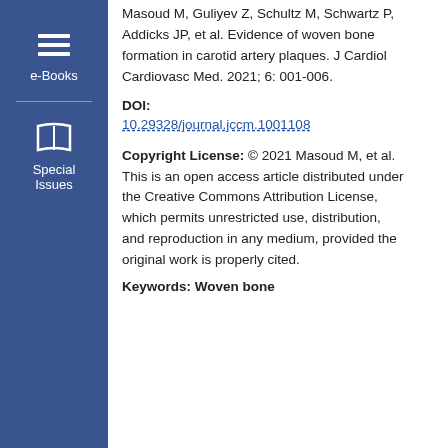Masoud M, Guliyev Z, Schultz M, Schwartz P, Addicks JP, et al. Evidence of woven bone formation in carotid artery plaques. J Cardiol Cardiovasc Med. 2021; 6: 001-006.
DOI: 10.29328/journal.jccm.1001108
Copyright License: © 2021 Masoud M, et al. This is an open access article distributed under the Creative Commons Attribution License, which permits unrestricted use, distribution, and reproduction in any medium, provided the original work is properly cited.
Keywords: Woven bone...